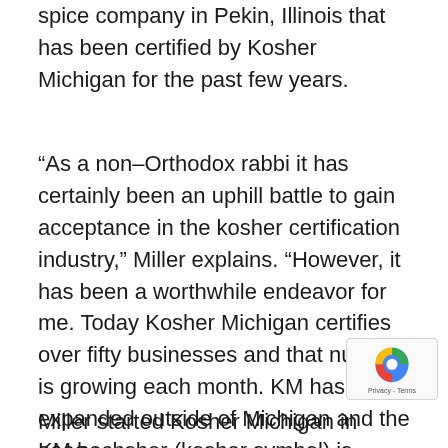spice company in Pekin, Illinois that has been certified by Kosher Michigan for the past few years.
“As a non–Orthodox rabbi it has certainly been an uphill battle to gain acceptance in the kosher certification industry,” Miller explains. “However, it has been a worthwhile endeavor for me. Today Kosher Michigan certifies over fifty businesses and that number is growing each month. KM has expanded outside of Michigan and the KM hechsher (kosher symbol) is found on products sold throughout the U.S. and Canada.”
Miller started Kosher Michigan in 2008 to